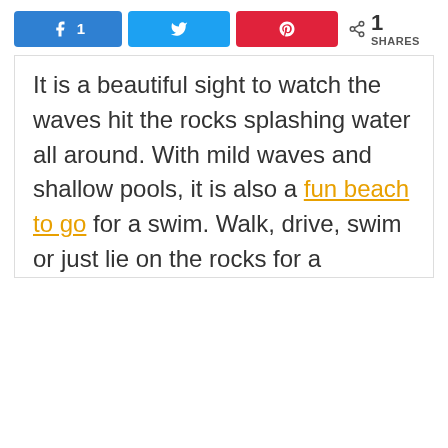[Figure (infographic): Social share bar with Facebook (count: 1), Twitter, and Pinterest buttons, plus a share icon showing 1 SHARES]
It is a beautiful sight to watch the waves hit the rocks splashing water all around. With mild waves and shallow pools, it is also a fun beach to go for a swim. Walk, drive, swim or just lie on the rocks for a